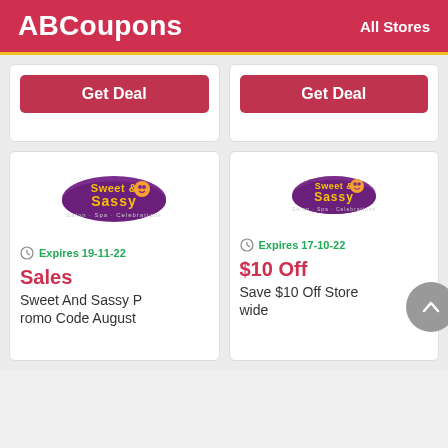ABCoupons   All Stores
[Figure (other): Get Deal button (left card, top row)]
[Figure (other): Get Deal button (right card, top row)]
[Figure (logo): Sweet and Sassy salon logo (left bottom card)]
Expires 19-11-22
Sales
Sweet And Sassy Promo Code August
[Figure (logo): Sweet and Sassy salon logo (right bottom card)]
Expires 17-10-22
$10 Off
Save $10 Off Store wide